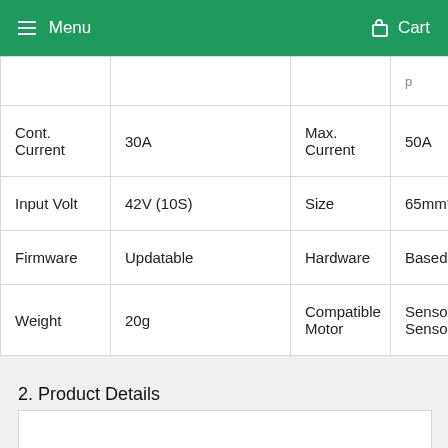Menu    Cart
|  |  |  |  |
| Cont. Current | 30A | Max. Current | 50A |
| Input Volt | 42V (10S) | Size | 65mm*18m… |
| Firmware | Updatable | Hardware | Based on V… |
| Weight | 20g | Compatible Motor | Sensored & Sensorless… |
2. Product Details